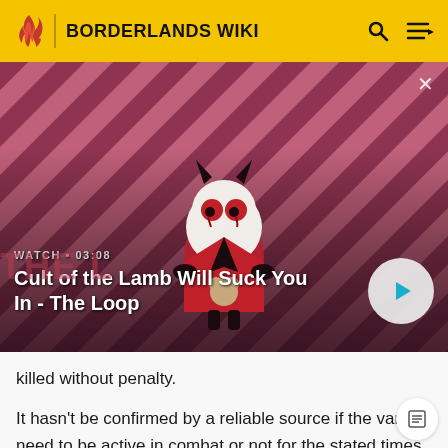BORDERLANDS WIKI
[Figure (screenshot): Video thumbnail for 'Cult of the Lamb Will Suck You In - The Loop' showing a cartoon lamb character with dark horns and red eyes on a pink/red diagonal striped background. Watch time shown as 03:08.]
WATCH • 03:08
Cult of the Lamb Will Suck You In - The Loop
killed without penalty.
It hasn't be confirmed by a reliable source if the varkids need to be active in combat or not for the stated times. Some sources[1] state that the timer will reset to zero if a